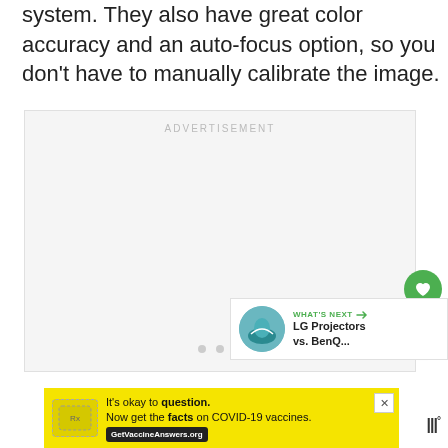system. They also have great color accuracy and an auto-focus option, so you don't have to manually calibrate the image.
[Figure (other): Advertisement placeholder box with 'ADVERTISEMENT' label and three pagination dots at the bottom]
[Figure (other): Green circular heart/favorite button floating on right side]
[Figure (other): White circular share button floating on right side]
[Figure (other): What's Next panel showing thumbnail and text 'LG Projectors vs. BenQ...']
[Figure (other): Yellow bottom advertisement banner: 'It's okay to question. Now get the facts on COVID-19 vaccines. GetVaccineAnswers.org' with Mw logo on right]